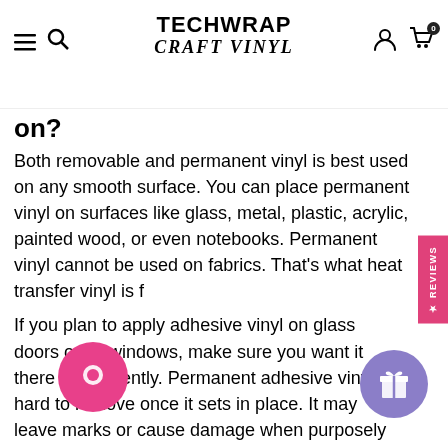TeckWrap craft vinyl
on?
Both removable and permanent vinyl is best used on any smooth surface. You can place permanent vinyl on surfaces like glass, metal, plastic, acrylic, painted wood, or even notebooks. Permanent vinyl cannot be used on fabrics. That's what heat transfer vinyl is f
If you plan to apply adhesive vinyl on glass doors or car windows, make sure you want it there permanently. Permanent adhesive vinyl is hard to remove once it sets in place. It may leave marks or cause damage when purposely removed.
Project Ideas Using Permanent Vinyl
So you might be wondering, what kind of projects can you create using permanent vinyl? Brace yourselves